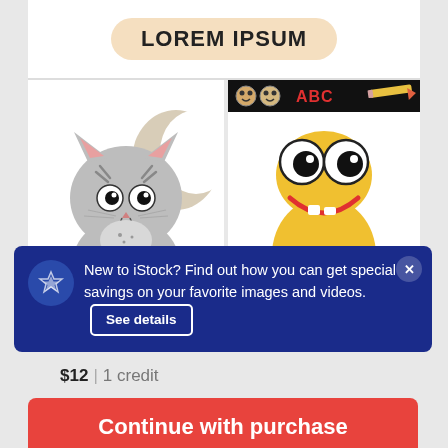[Figure (illustration): White card area showing 'LOREM IPSUM' text in bold on a peach/orange pill-shaped badge]
[Figure (illustration): Cartoon cute cat illustration with gray stripes, sitting in front of a moon, with 'CHICKEN' text at bottom]
[Figure (illustration): Cartoon yellow snake/worm character with big googly eyes, smiling, with ABC header bar and alphabet letters at bottom]
New to iStock? Find out how you can get special savings on your favorite images and videos.
See details
$12 | 1 credit
Continue with purchase